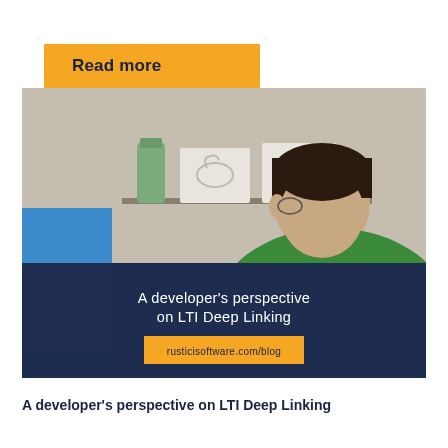Read more
[Figure (photo): A developer sitting at a desk in profile view, wearing a green shirt, with a monitor visible and decorative wall art in the background. Overlay text reads: A developer's perspective on LTI Deep Linking. URL shown: rusticisoftware.com/blog]
A developer's perspective on LTI Deep Linking